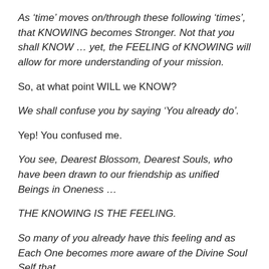As ‘time’ moves on/through these following ‘times’, that KNOWING becomes Stronger. Not that you shall KNOW … yet, the FEELING of KNOWING will allow for more understanding of your mission.
So, at what point WILL we KNOW?
We shall confuse you by saying ‘You already do’.
Yep! You confused me.
You see, Dearest Blossom, Dearest Souls, who have been drawn to our friendship as unified Beings in Oneness …
THE KNOWING IS THE FEELING.
So many of you already have this feeling and as Each One becomes more aware of the Divine Soul Self that